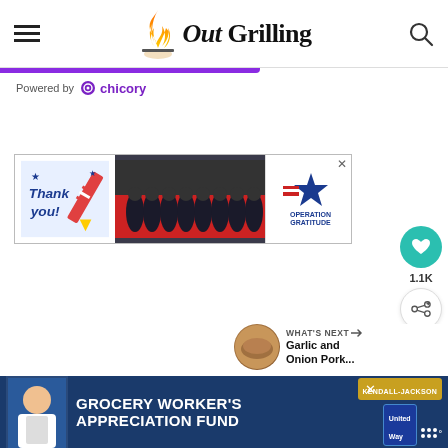Out Grilling — website header with hamburger menu and search icon
[Figure (logo): Out Grilling logo with flame icon and text 'Out Grilling']
Powered by chicory
[Figure (infographic): Thank you Operation Gratitude advertisement banner with firefighters]
[Figure (infographic): Heart/like button showing 1.1K and share button]
1.1K
[Figure (photo): What's Next thumbnail for Garlic and Onion Pork...]
WHAT'S NEXT → Garlic and Onion Pork...
[Figure (infographic): Grocery Worker's Appreciation Fund advertisement with Kendall Jackson and United Way logos]